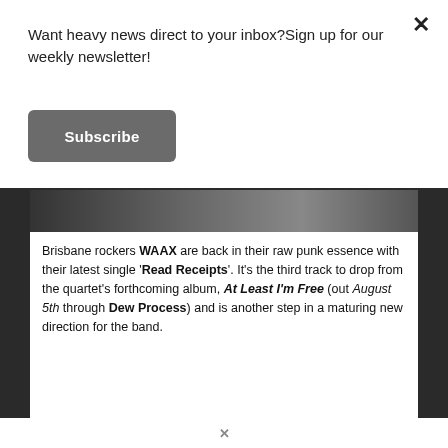Want heavy news direct to your inbox?Sign up for our weekly newsletter!
Subscribe
[Figure (photo): Dark band image showing a partial view of a music-related photograph]
Brisbane rockers WAAX are back in their raw punk essence with their latest single 'Read Receipts'. It's the third track to drop from the quartet's forthcoming album, At Least I'm Free (out August 5th through Dew Process) and is another step in a maturing new direction for the band.